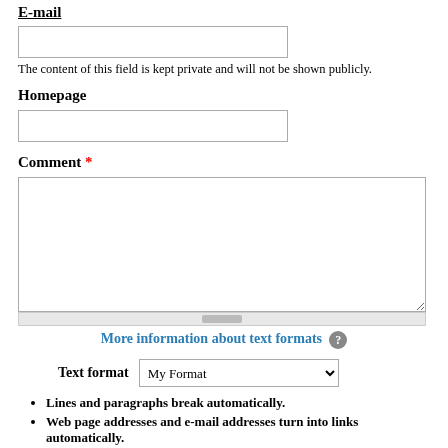E-mail
[Figure (screenshot): Empty text input field for email]
The content of this field is kept private and will not be shown publicly.
Homepage
[Figure (screenshot): Empty text input field for homepage URL]
Comment *
[Figure (screenshot): Large textarea input field for comment with scrollbar]
More information about text formats
Text format  My Format
Lines and paragraphs break automatically.
Web page addresses and e-mail addresses turn into links automatically.